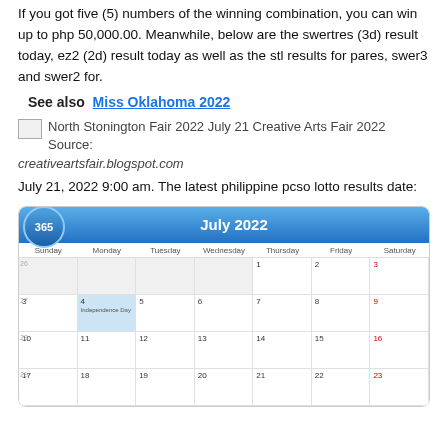If you got five (5) numbers of the winning combination, you can win up to php 50,000.00. Meanwhile, below are the swertres (3d) result today, ez2 (2d) result today as well as the stl results for pares, swer3 and swer2 for.
See also  Miss Oklahoma 2022
[Figure (photo): North Stonington Fair 2022 July 21 Creative Arts Fair 2022 with source label]
creativeartsfair.blogspot.com
July 21, 2022 9:00 am. The latest philippine pcso lotto results date:
[Figure (other): July 2022 calendar showing the month with a 365 badge, days of week headers, and calendar grid. July 4th is highlighted as Independence Day.]